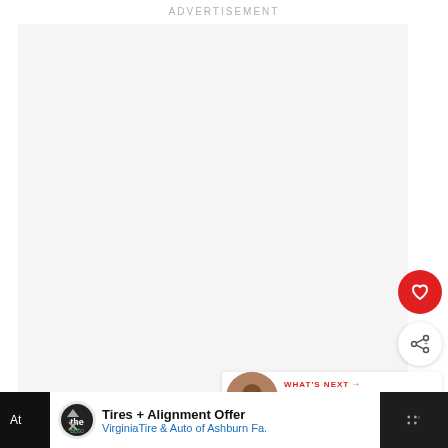ADVERTISEMENT
[Figure (other): Large advertisement placeholder area, light gray background]
[Figure (other): Red circular heart/favorite button]
[Figure (other): White circular share button with share icon]
[Figure (other): What's Next card showing thumbnail and text: Nick Walker: 'I'm Coming ...']
[Figure (other): Bottom advertisement banner: Tires + Alignment Offer, VirginiaTire & Auto of Ashburn Fa.]
At
unity to